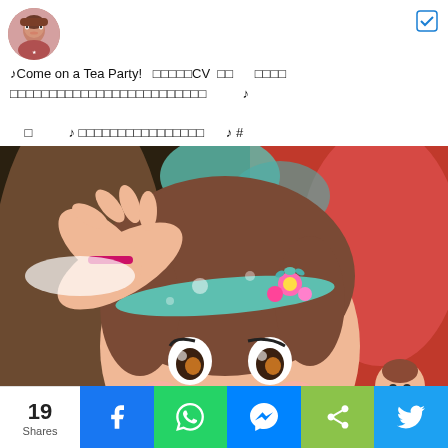[Figure (illustration): Circular avatar icon of an anime girl character]
♪Come on a Tea Party!　□□□□□CV　□□　□□□□
□□□□□□□□□□□□□□□□□□□□□□　♪
□　♪ □□□□□□□□□□□□□□□　♪ #
[Figure (screenshot): Anime girl character with brown hair and flower headband, wearing a pink and green outfit, video playback at 0:00]
19 Shares | Facebook | WhatsApp | Messenger | Share | Twitter